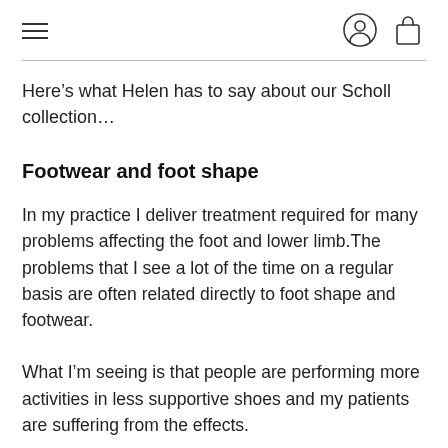≡  [user icon] [bag icon]
Here’s what Helen has to say about our Scholl collection…
Footwear and foot shape
In my practice I deliver treatment required for many problems affecting the foot and lower limb.The problems that I see a lot of the time on a regular basis are often related directly to foot shape and footwear.
What I’m seeing is that people are performing more activities in less supportive shoes and my patients are suffering from the effects.